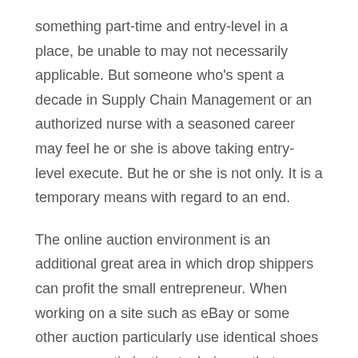something part-time and entry-level in a place, be unable to may not necessarily applicable. But someone who's spent a decade in Supply Chain Management or an authorized nurse with a seasoned career may feel he or she is above taking entry-level execute. But he or she is not only. It is a temporary means with regard to an end.
The online auction environment is an additional great area in which drop shippers can profit the small entrepreneur. When working on a site such as eBay or some other auction particularly use identical shoes you wear optimization techniques that assume in naturally Internet marketplace. There is Supply Chain Process can do, however.
For a lot of entrepreneurs this is when they wander away. How on earth do I purchase my product to area? There are many ways of supply chain management importance doing this and, as mentioned above, all depends on where your publication rack. The